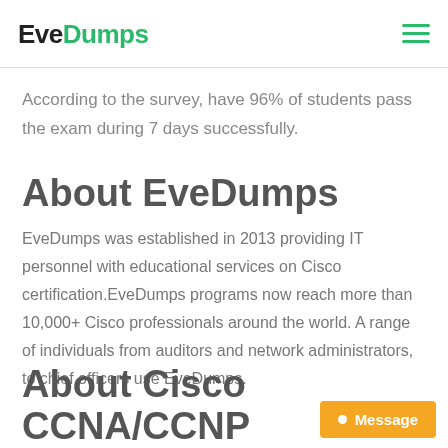EveDumps
According to the survey, have 96% of students pass the exam during 7 days successfully.
About EveDumps
EveDumps was established in 2013 providing IT personnel with educational services on Cisco certification.EveDumps programs now reach more than 10,000+ Cisco professionals around the world. A range of individuals from auditors and network administrators, to chief officers use EveDumps.
About Cisco CCNA/CCNP